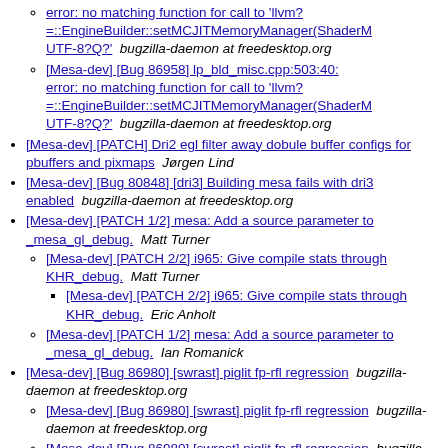[Mesa-dev] [Bug 86958] lp_bld_misc.cpp:503:40: error: no matching function for call to 'llvm?=::EngineBuilder::setMCJITMemoryManager(ShaderM UTF-8?Q?' bugzilla-daemon at freedesktop.org
[Mesa-dev] [Bug 86958] lp_bld_misc.cpp:503:40: error: no matching function for call to 'llvm?=::EngineBuilder::setMCJITMemoryManager(ShaderM UTF-8?Q?' bugzilla-daemon at freedesktop.org
[Mesa-dev] [PATCH] Dri2 egl filter away dobule buffer configs for pbuffers and pixmaps  Jørgen Lind
[Mesa-dev] [Bug 80848] [dri3] Building mesa fails with dri3 enabled  bugzilla-daemon at freedesktop.org
[Mesa-dev] [PATCH 1/2] mesa: Add a source parameter to _mesa_gl_debug.  Matt Turner
[Mesa-dev] [PATCH 2/2] i965: Give compile stats through KHR_debug.  Matt Turner
[Mesa-dev] [PATCH 2/2] i965: Give compile stats through KHR_debug.  Eric Anholt
[Mesa-dev] [PATCH 1/2] mesa: Add a source parameter to _mesa_gl_debug.  Ian Romanick
[Mesa-dev] [Bug 86980] [swrast] piglit fp-rfl regression  bugzilla-daemon at freedesktop.org
[Mesa-dev] [Bug 86980] [swrast] piglit fp-rfl regression  bugzilla-daemon at freedesktop.org
[Mesa-dev] [Bug 86980] [swrast] piglit fp-rfl regression  bugzilla-daemon at freedesktop.org